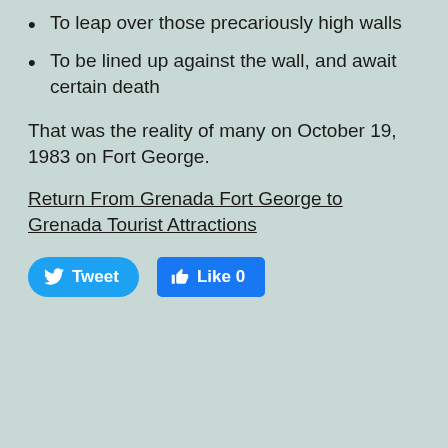To leap over those precariously high walls
To be lined up against the wall, and await certain death
That was the reality of many on October 19, 1983 on Fort George.
Return From Grenada Fort George to Grenada Tourist Attractions
[Figure (other): Social media sharing buttons: Tweet (Twitter) and Like 0 (Facebook)]